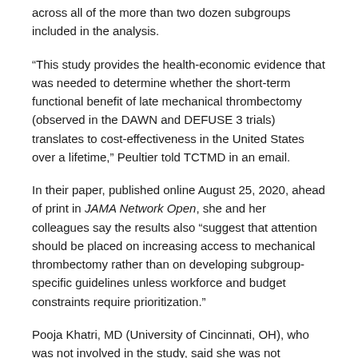across all of the more than two dozen subgroups included in the analysis.
“This study provides the health-economic evidence that was needed to determine whether the short-term functional benefit of late mechanical thrombectomy (observed in the DAWN and DEFUSE 3 trials) translates to cost-effectiveness in the United States over a lifetime,” Peultier told TCTMD in an email.
In their paper, published online August 25, 2020, ahead of print in JAMA Network Open, she and her colleagues say the results also “suggest that attention should be placed on increasing access to mechanical thrombectomy rather than on developing subgroup-specific guidelines unless workforce and budget constraints require prioritization.”
Pooja Khatri, MD (University of Cincinnati, OH), who was not involved in the study, said she was not surprised by the findings. “They’re exactly what I’d expect, because based on the numbers needed to treat that we’ve been seeing with these trials, we know that they’re some of the lowest in medicine. And so it’s sort of expected that we would get a highly